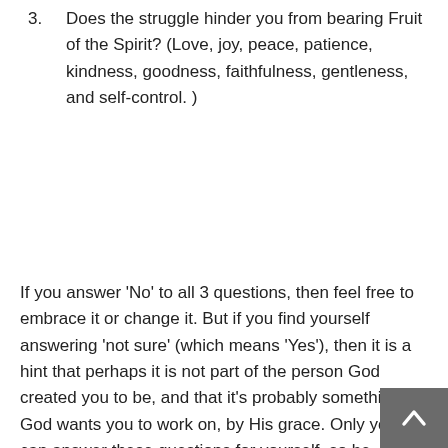3. Does the struggle hinder you from bearing Fruit of the Spirit? (Love, joy, peace, patience, kindness, goodness, faithfulness, gentleness, and self-control. )
If you answer 'No' to all 3 questions, then feel free to embrace it or change it. But if you find yourself answering 'not sure' (which means 'Yes'), then it is a hint that perhaps it is not part of the person God created you to be, and that it's probably something God wants you to work on, by His grace. Only you can answer these questions for yourself, so be vigilant to how your different characteristics affect you in these 3 areas.